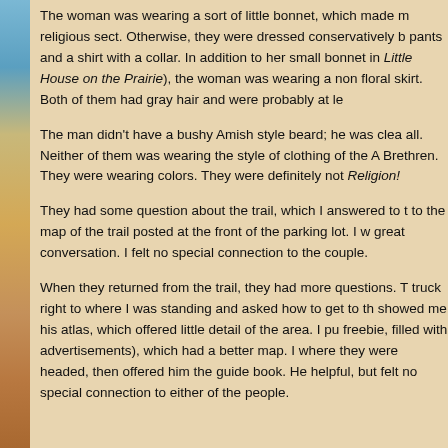The woman was wearing a sort of little bonnet, which made me think of a religious sect. Otherwise, they were dressed conservatively but casually—pants and a shirt with a collar. In addition to her small bonnet (like those in Little House on the Prairie), the woman was wearing a nondescript floral skirt. Both of them had gray hair and were probably at le...
The man didn't have a bushy Amish style beard; he was clean-shaven after all. Neither of them was wearing the style of clothing of the Amish or Brethren. They were wearing colors. They were definitely not Organized Religion!
They had some question about the trail, which I answered to the best... to the map of the trail posted at the front of the parking lot. I w... great conversation. I felt no special connection to the couple.
When they returned from the trail, they had more questions. T... truck right to where I was standing and asked how to get to th... showed me his atlas, which offered little detail of the area. I pu... freebie, filled with advertisements), which had a better map. I... where they were headed, then offered him the guide book. He... helpful, but felt no special connection to either of the people.